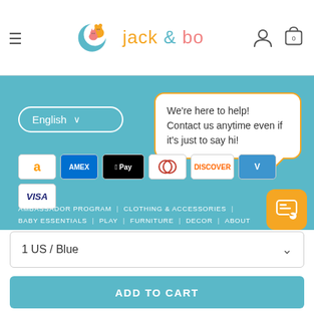[Figure (logo): Jack & Bo baby store logo with teal crescent moon and animal characters]
English
We're here to help! Contact us anytime even if it's just to say hi!
[Figure (infographic): Payment method icons: Amazon, Amex, Apple Pay, Diners Club, Discover, Venmo, Visa]
AMBASSADOR PROGRAM | CLOTHING & ACCESSORIES | BABY ESSENTIALS | PLAY | FURNITURE | DECOR | ABOUT
1 US / Blue
ADD TO CART